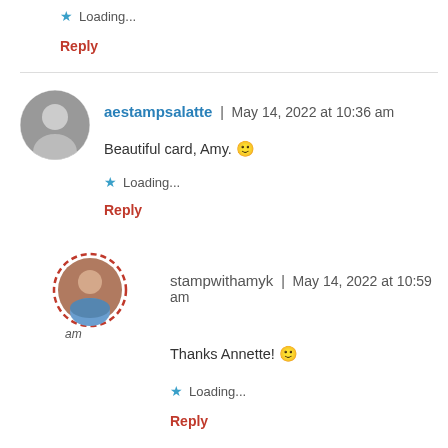★ Loading...
Reply
aestampsalatte | May 14, 2022 at 10:36 am
Beautiful card, Amy. 🙂
★ Loading...
Reply
[Figure (photo): Circular avatar photo of a woman in black and white with red dashed border]
stampwithamyk | May 14, 2022 at 10:59 am
Thanks Annette! 🙂
★ Loading...
Reply